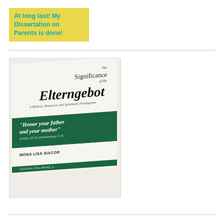At long last! My Dissertation on Parents is done!
[Figure (photo): Photo of a dissertation book cover titled 'The Significance of the Elterngebot: A Biblical, Historical, and Systematic Investigation' with a green band containing the quote 'Honor your father and your mother' Exodus 20:12, Deuteronomy 5:16, authored by Mona Lisa Siacor, published by Central Philippine University]